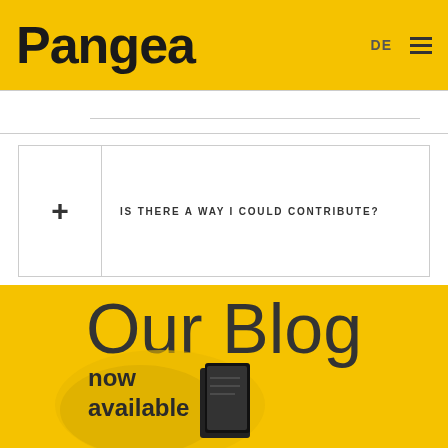Pangea
DE
+ IS THERE A WAY I COULD CONTRIBUTE?
Our Blog
now available